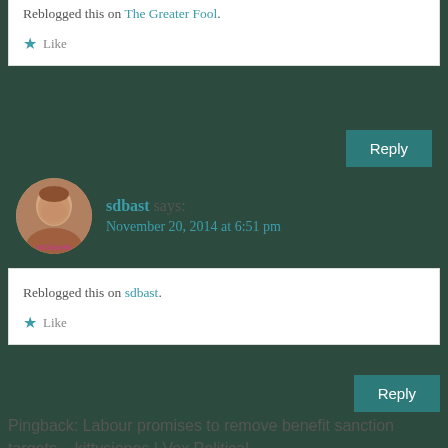Reblogged this on The Greater Fool.
Like
Reply
sdbast says:
November 20, 2014 at 6:51 pm
Reblogged this on sdbast.
Like
Reply
Pingback: Labour promises to remove benefit sanction targets – kittysjones | Vox Political